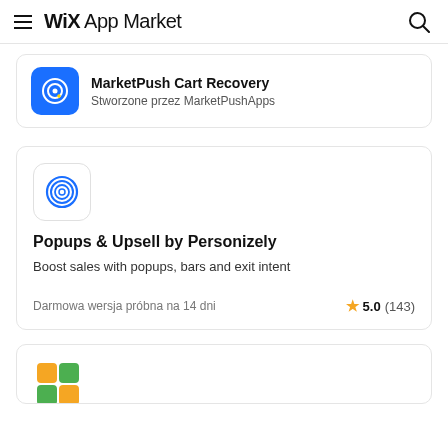WiX App Market
MarketPush Cart Recovery
Stworzone przez MarketPushApps
Popups & Upsell by Personizely
Boost sales with popups, bars and exit intent
Darmowa wersja próbna na 14 dni
5.0 (143)